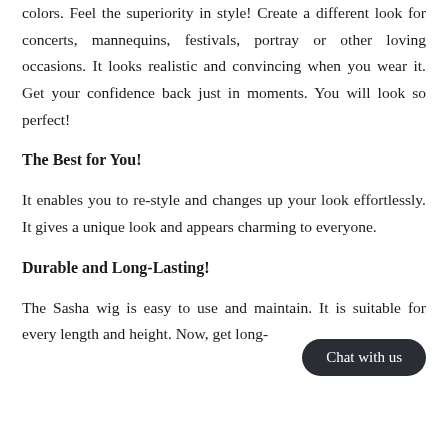colors. Feel the superiority in style! Create a different look for concerts, mannequins, festivals, portray or other loving occasions. It looks realistic and convincing when you wear it. Get your confidence back just in moments. You will look so perfect!
The Best for You!
It enables you to re-style and changes up your look effortlessly. It gives a unique look and appears charming to everyone.
Durable and Long-Lasting!
The Sasha wig is easy to use and maintain. It is suitable for every length and height. Now, get long-